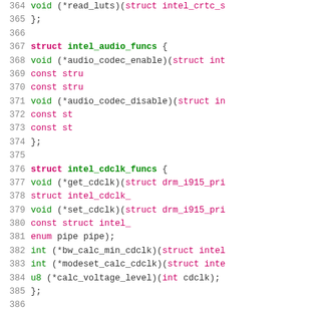[Figure (screenshot): Source code listing showing C struct definitions for Intel DRM driver, lines 364-390, with syntax highlighting: line numbers in gray, keywords in bold magenta/pink, type names and function names in green, parameters in magenta.]